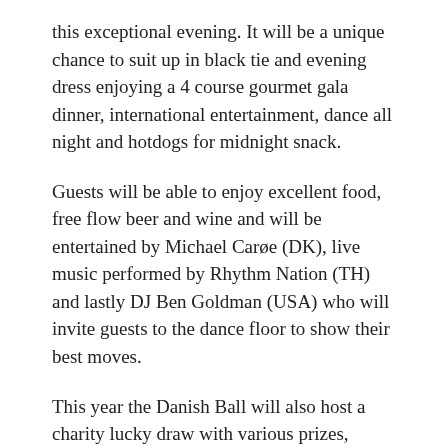this exceptional evening. It will be a unique chance to suit up in black tie and evening dress enjoying a 4 course gourmet gala dinner, international entertainment, dance all night and hotdogs for midnight snack.
Guests will be able to enjoy excellent food, free flow beer and wine and will be entertained by Michael Carøe (DK), live music performed by Rhythm Nation (TH) and lastly DJ Ben Goldman (USA) who will invite guests to the dance floor to show their best moves.
This year the Danish Ball will also host a charity lucky draw with various prizes, including a return-trip to Denmark donated by Emirates. The total income will go directly to the orphanage 'The children of the forest' in Thailand. 'The Children of the forest' is located in an area 19 km from the Thai-Myanmar